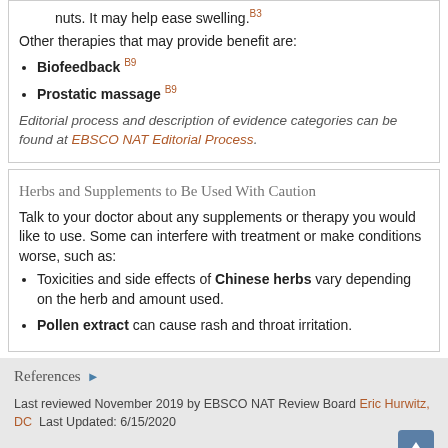nuts. It may help ease swelling.B3
Other therapies that may provide benefit are:
Biofeedback B9
Prostatic massage B9
Editorial process and description of evidence categories can be found at EBSCO NAT Editorial Process.
Herbs and Supplements to Be Used With Caution
Talk to your doctor about any supplements or therapy you would like to use. Some can interfere with treatment or make conditions worse, such as:
Toxicities and side effects of Chinese herbs vary depending on the herb and amount used.
Pollen extract can cause rash and throat irritation.
References ▶
Last reviewed November 2019 by EBSCO NAT Review Board Eric Hurwitz, DC  Last Updated: 6/15/2020